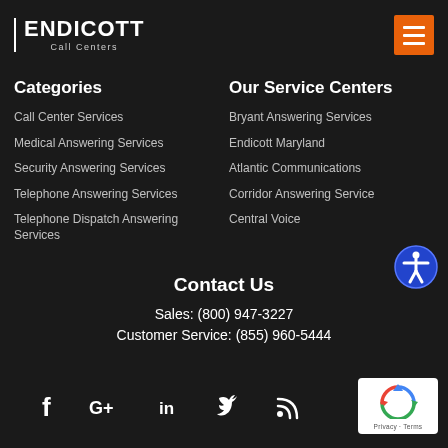[Figure (logo): Endicott Call Centers logo — white text 'ENDICOTT' with vertical bar on left and 'Call Centers' subtitle]
[Figure (other): Orange hamburger menu button with three white horizontal lines]
Categories
Call Center Services
Medical Answering Services
Security Answering Services
Telephone Answering Services
Telephone Dispatch Answering Services
Our Service Centers
Bryant Answering Services
Endicott Maryland
Atlantic Communications
Corridor Answering Service
Central Voice
Contact Us
Sales: (800) 947-3227
Customer Service: (855) 960-5444
[Figure (other): Social media icons row: Facebook (f), Google+ (G+), LinkedIn (in), Twitter bird, RSS feed]
[Figure (other): reCAPTCHA badge with recycling arrows logo and Privacy · Terms text]